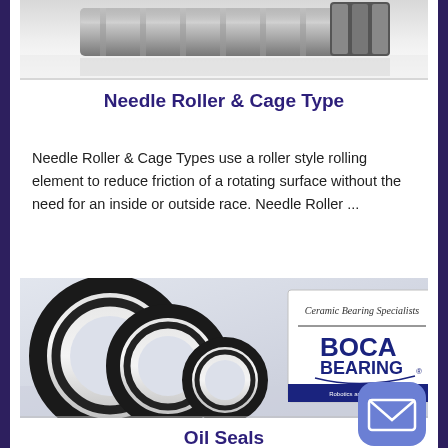[Figure (photo): Photo of needle roller and cage type bearing components on a reflective surface]
Needle Roller & Cage Type
Needle Roller & Cage Types use a roller style rolling element to reduce friction of a rotating surface without the need for an inside or outside race. Needle Roller ...
[Figure (photo): Photo of oil seals of various sizes with a Boca Bearing branded box labeled Ceramic Bearing Specialists in the background]
Oil Seals